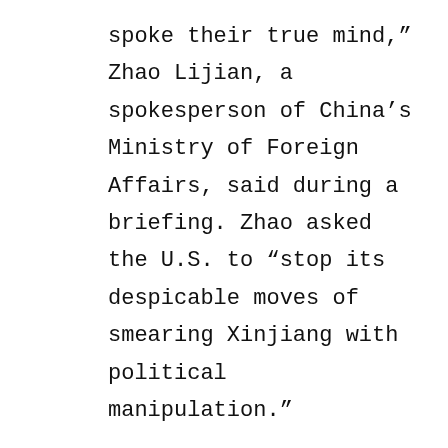spoke their true mind,” Zhao Lijian, a spokesperson of China’s Ministry of Foreign Affairs, said during a briefing. Zhao asked the U.S. to “stop its despicable moves of smearing Xinjiang with political manipulation.”
On Wednesday, Deputy Assistant Secretary of State for East Asian and Pacific Affairs Camille Dawson told congressional members that the State Department is requesting funding to increase staffing to expand U.S. public diplomacy in the Pacific Islands and to